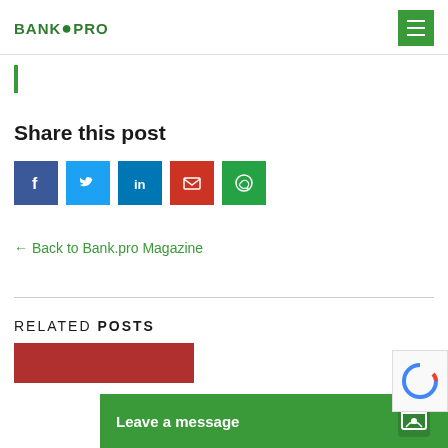BANK.PRO
[Figure (illustration): Green vertical bar indicator]
Share this post
[Figure (infographic): Social share buttons: Facebook, Twitter, LinkedIn, Email, WhatsApp]
← Back to Bank.pro Magazine
RELATED POSTS
[Figure (photo): Related post thumbnail image (red/dark)]
Leave a message